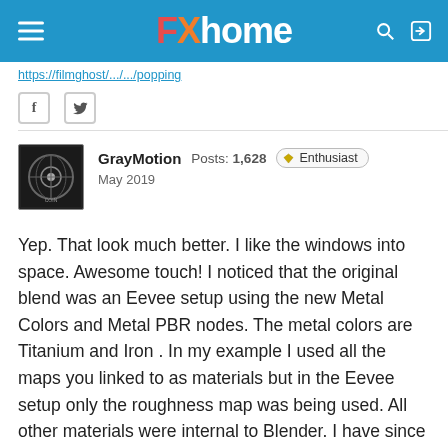FXhome
https://filmghost/.../.../popping
GrayMotion  Posts: 1,628  Enthusiast  May 2019
Yep. That look much better. I like the windows into space. Awesome touch! I noticed that the original blend was an Eevee setup using the new Metal Colors and Metal PBR nodes. The metal colors are Titanium and Iron . In my example I used all the maps you linked to as materials but in the Eevee setup only the roughness map was being used. All other materials were internal to Blender. I have since went back and removed all materials except the normals and used Hitfilm Fresnel option for metal base's and just set the diffuse color to 180 180 180. Also added 12 spot lights for